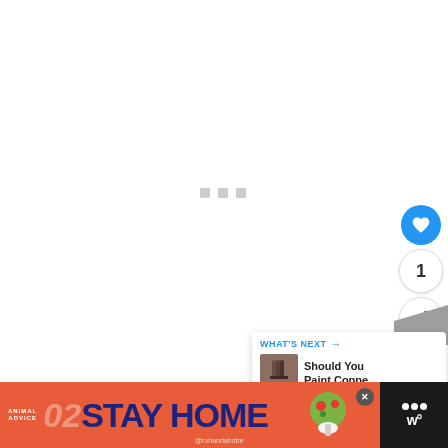[Figure (screenshot): A mostly blank/loading web page with a light gray background and three small gray loading indicator squares in the center. On the right side there is a blue circular heart/like button, a like count showing '1', and a share button. There is a gray folded corner bookmark element. A 'WHAT'S NEXT' card shows a thumbnail and text 'Should You Paint Coppe...'. At the bottom is a footer with a dark background, an orange/red advertisement banner reading 'ANIMAL ADVICE 02 STAY HOME @rohandahotre' with an illustration, and a WonderHowTo logo area.]